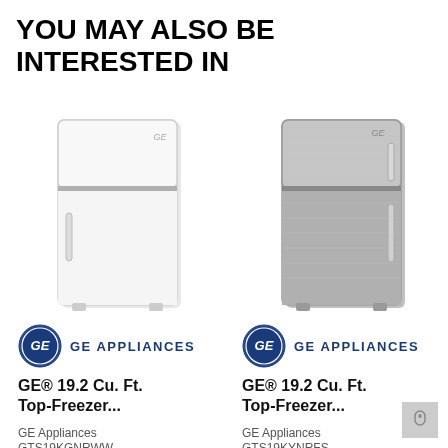YOU MAY ALSO BE INTERESTED IN
[Figure (illustration): White GE top-freezer refrigerator product image]
[Figure (logo): GE Appliances logo - blue circle with GE monogram and text GE APPLIANCES]
GE® 19.2 Cu. Ft. Top-Freezer...
GE Appliances
GTS19KGNRWW
[Figure (illustration): Stainless steel GE top-freezer refrigerator product image]
[Figure (logo): GE Appliances logo - blue circle with GE monogram and text GE APPLIANCES]
GE® 19.2 Cu. Ft. Top-Freezer...
GE Appliances
GTS19KYNRFS